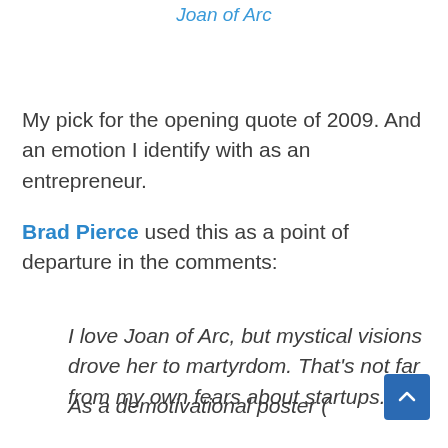Joan of Arc
My pick for the opening quote of 2009. And an emotion I identify with as an entrepreneur.
Brad Pierce used this as a point of departure in the comments:
I love Joan of Arc, but mystical visions drove her to martyrdom. That's not far from my own fears about startups.
As a demotivational poster (